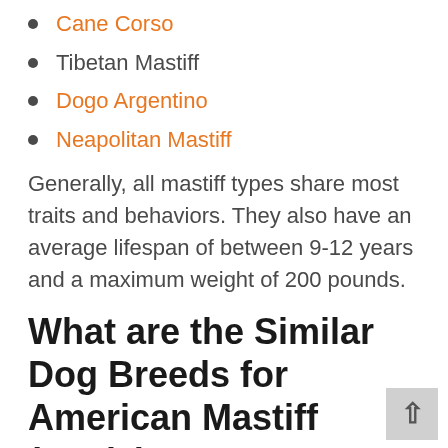Cane Corso
Tibetan Mastiff
Dogo Argentino
Neapolitan Mastiff
Generally, all mastiff types share most traits and behaviors. They also have an average lifespan of between 9-12 years and a maximum weight of 200 pounds.
What are the Similar Dog Breeds for American Mastiff (Panja)?
The following are some of the dog breeds that